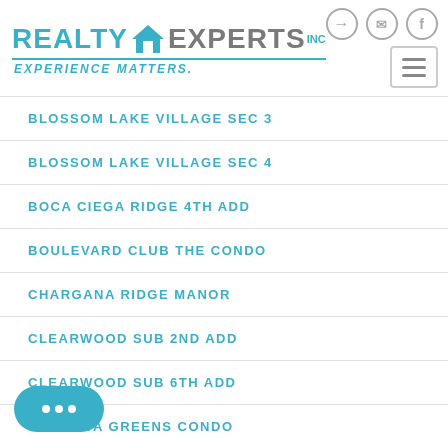[Figure (logo): Realty Experts Inc logo with house icon and tagline EXPERIENCE MATTERS.]
BLOSSOM LAKE VILLAGE SEC 3
BLOSSOM LAKE VILLAGE SEC 4
BOCA CIEGA RIDGE 4TH ADD
BOULEVARD CLUB THE CONDO
CHARGANA RIDGE MANOR
CLEARWOOD SUB 2ND ADD
CLEARWOOD SUB 6TH ADD
CORDOVA GREENS CONDO